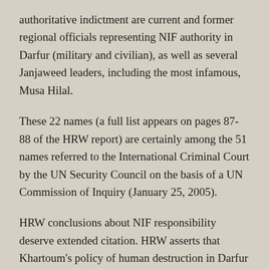authoritative indictment are current and former regional officials representing NIF authority in Darfur (military and civilian), as well as several Janjaweed leaders, including the most infamous, Musa Hilal.
These 22 names (a full list appears on pages 87-88 of the HRW report) are certainly among the 51 names referred to the International Criminal Court by the UN Security Council on the basis of a UN Commission of Inquiry (January 25, 2005).
HRW conclusions about NIF responsibility deserve extended citation. HRW asserts that Khartoum’s policy of human destruction in Darfur “was strategic and well-planned”:
“Since early 2003, the leadership in Khartoum has relied on civilian administration, the Sudanese military and Janjaweed militias to implement a counterinsurgency policy that